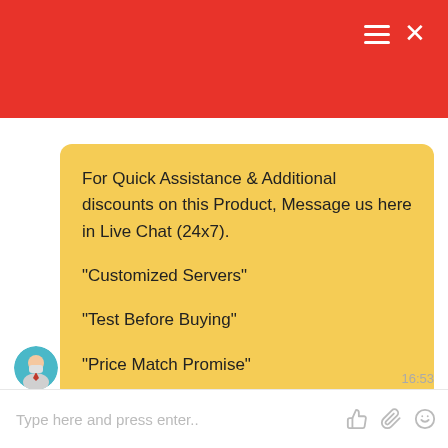[Figure (screenshot): Red header bar with hamburger menu and X close icon in white]
For Quick Assistance & Additional discounts on this Product, Message us here in Live Chat (24x7).

"Customized Servers"

"Test Before Buying"

"Price Match Promise"
16:53
Type here and press enter..